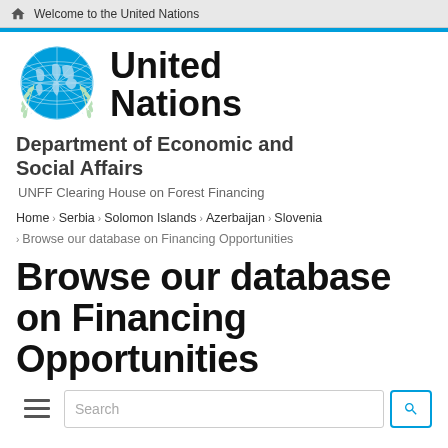Welcome to the United Nations
[Figure (logo): United Nations emblem logo in blue]
United Nations
Department of Economic and Social Affairs
UNFF Clearing House on Forest Financing
Home › Serbia › Solomon Islands › Azerbaijan › Slovenia › Browse our database on Financing Opportunities
Browse our database on Financing Opportunities